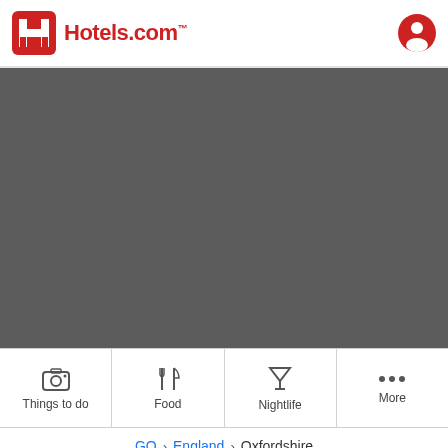Hotels.com
[Figure (map): Dark grey map area showing a geographic region (map tiles not loaded / placeholder)]
[Figure (infographic): Navigation bar with four items: Things to do (camera icon), Food (fork and knife icon), Nightlife (cocktail glass icon), More (three dots icon)]
GO > England > Oxfordshire